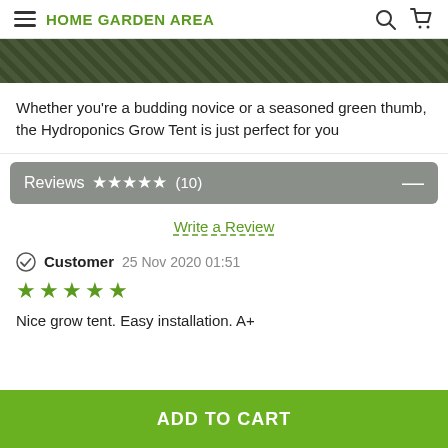HOME GARDEN AREA
[Figure (photo): Partial image of a grow tent or plant-related product, dark foliage visible at top]
Whether you’re a budding novice or a seasoned green thumb, the Hydroponics Grow Tent is just perfect for you
Reviews ★★★★★ (10)
Write a Review
Customer  25 Nov 2020 01:51
★★★★★
Nice grow tent. Easy installation. A+